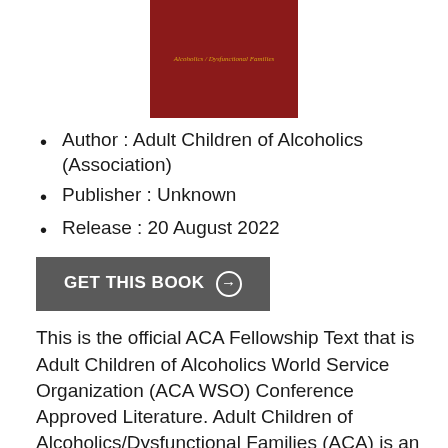[Figure (illustration): Book cover with dark red/maroon background and gold italic text reading 'Alcoholics / Dysfunctional Families']
Author : Adult Children of Alcoholics (Association)
Publisher : Unknown
Release : 20 August 2022
GET THIS BOOK →
This is the official ACA Fellowship Text that is Adult Children of Alcoholics World Service Organization (ACA WSO) Conference Approved Literature. Adult Children of Alcoholics/Dysfunctional Families (ACA) is an independent 12 Step and 12 Tradition anonymous program.